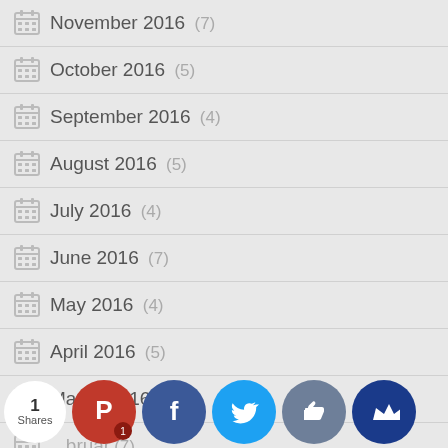November 2016 (7)
October 2016 (5)
September 2016 (4)
August 2016 (5)
July 2016 (4)
June 2016 (7)
May 2016 (4)
April 2016 (5)
March 2016 (7)
February (7)